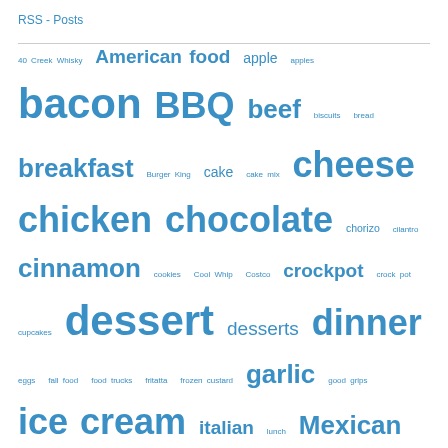RSS - Posts
40 Creek Whisky American food apple apples bacon BBQ beef biscuits bread breakfast Burger King cake cake mix cheese chicken chocolate chorizo cilantro cinnamon cookies Cool Whip Costco crockpot crock pot cupcakes dessert desserts dinner eggs fall food food trucks fritatta frozen custard garlic good grips ice cream italian lunch Mexican Michigan New York no bake Ogdensburg ottawa oxo pasta peanut butter pepsi pie pillsbury crescent rolls Pinterest pork potatoes recipes rice ricotta Ron Swanson rotel salsa salted caramel sausage shrimp soup spinach steak Syracuse tomatoes tomato sauce tools tortillas vegetarian video Watertown weeknight dinners